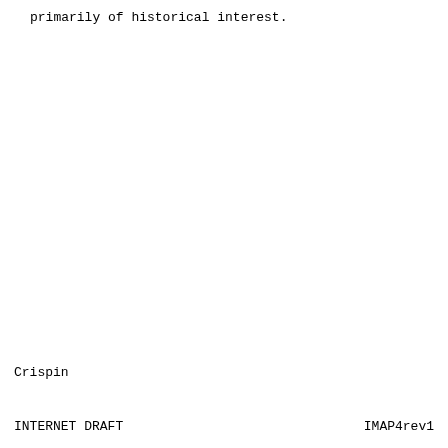primarily of historical interest.
Crispin
INTERNET DRAFT                    IMAP4rev1